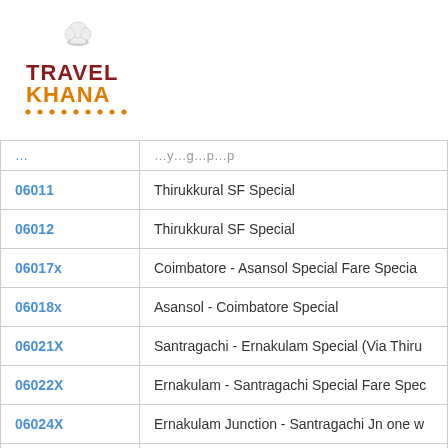[Figure (logo): TravelKhana logo with chef hat icon, TRAVEL in dark red/maroon, KHANA in orange, dotted underline]
| Train No. | Train Name |
| --- | --- |
| 06011 | Thirukkural SF Special |
| 06012 | Thirukkural SF Special |
| 06017x | Coimbatore - Asansol Special Fare Specia… |
| 06018x | Asansol - Coimbatore Special |
| 06021X | Santragachi - Ernakulam Special (Via Thiru… |
| 06022X | Ernakulam - Santragachi Special Fare Spec… |
| 06024X | Ernakulam Junction - Santragachi Jn one w… |
| 06025X | Santragachi - MGR Chennai Central Specia… |
| 06026X | MGR Chennai Central - Santragachi Specia… |